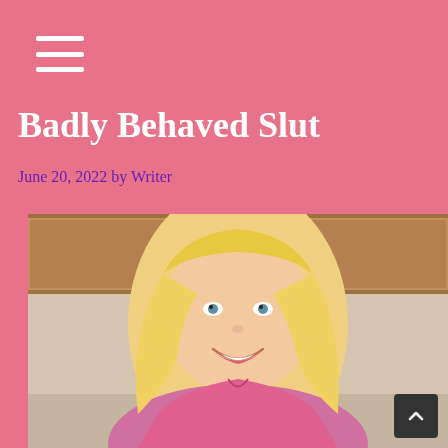☰ (menu icon)
Badly Behaved Slut
June 20, 2022 by Writer
[Figure (photo): Young blonde woman smiling in a kitchen setting, wearing a pink top]